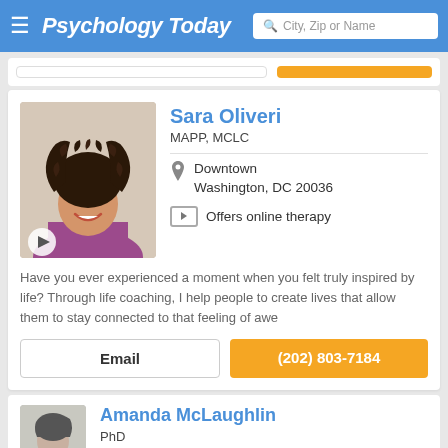Psychology Today — City, Zip or Name search
Sara Oliveri
MAPP, MCLC
Downtown Washington, DC 20036
Offers online therapy
Have you ever experienced a moment when you felt truly inspired by life? Through life coaching, I help people to create lives that allow them to stay connected to that feeling of awe
Email
(202) 803-7184
Amanda McLaughlin
PhD